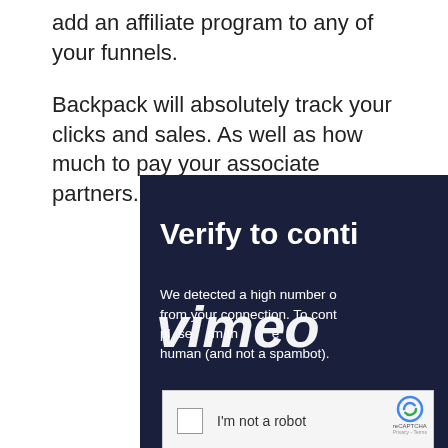add an affiliate program to any of your funnels.
Backpack will absolutely track your clicks and sales. As well as how much to pay your associate partners.
[Figure (screenshot): A dark navy blue popup overlay showing a Vimeo 'Verify to continue' CAPTCHA screen. Large bold white text reads 'Verify to conti' (partially cut off). Below is smaller white text reading 'We detected a high number of' (partially cut off text about confirming human), overlaid with the large italic Vimeo logo watermark. At the bottom is a white CAPTCHA checkbox area with a checkbox and text 'I'm not a robot'.]